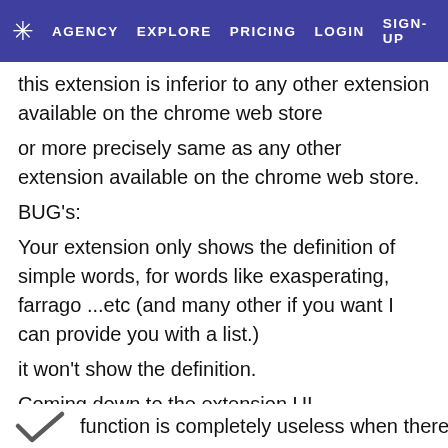AGENCY  EXPLORE  PRICING  LOGIN  SIGN-UP
this extension is inferior to any other extension available on the chrome web store
or more precisely same as any other extension available on the chrome web store.
BUG's:
Your extension only shows the definition of simple words, for words like exasperating, farrago ...etc (and many other if you want I can provide you with a list.)
it won't show the definition.
Coming down to the extension UI
In your extension search popup, there is a small green arrow on the lower right hand side. make it visible only if your extension captures a large amount of definition from your database. right now it is visible all the time. this
function is completely useless when there is no